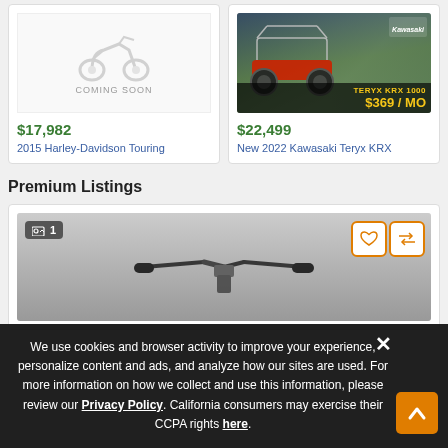[Figure (photo): Coming Soon motorcycle placeholder image]
$17,982
2015 Harley-Davidson Touring
[Figure (photo): Kawasaki Teryx KRX 1000 UTV advertisement image showing $369/MO offer]
$22,499
New 2022 Kawasaki Teryx KRX
Premium Listings
[Figure (photo): Motorcycle handlebar photo with image count badge showing 1 image, and favorite/compare buttons]
We use cookies and browser activity to improve your experience, personalize content and ads, and analyze how our sites are used. For more information on how we collect and use this information, please review our Privacy Policy. California consumers may exercise their CCPA rights here.